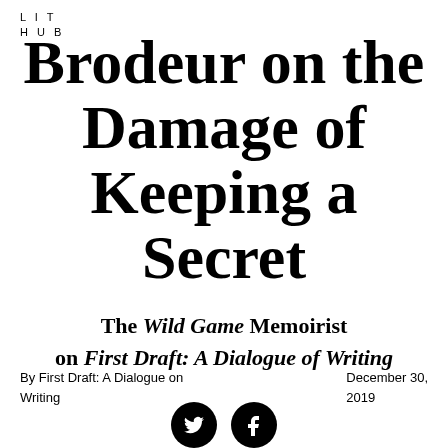LIT HUB
Brodeur on the Damage of Keeping a Secret
The Wild Game Memoirist on First Draft: A Dialogue of Writing
By First Draft: A Dialogue on Writing
December 30, 2019
[Figure (other): Twitter and Facebook social share icons (black circles with white bird and f logos)]